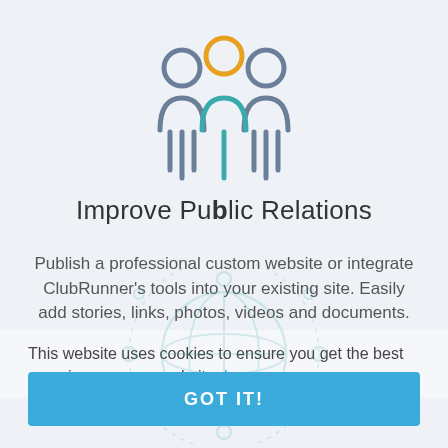[Figure (logo): Three person silhouette icons (people/club icon) with orange, teal, and gray colors, representing public relations or group management. Center figure has orange head circle, teal body. Side figures are gray. Below the figures are vertical bar lines in teal and gray.]
Improve Public Relations
Publish a professional custom website or integrate ClubRunner's tools into your existing site. Easily add stories, links, photos, videos and documents.
This website uses cookies to ensure you get the best experience on our website. Learn more
[Figure (illustration): Faint globe/network icon in background behind the GOT IT button area]
GOT IT!